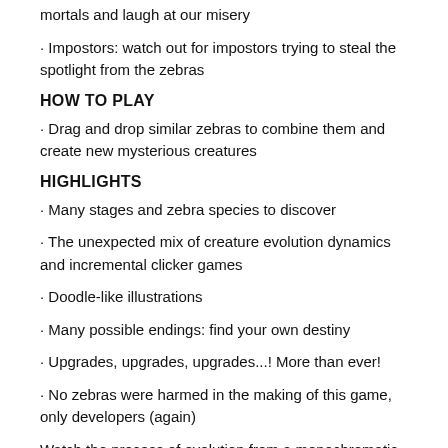mortals and laugh at our misery
· Impostors: watch out for impostors trying to steal the spotlight from the zebras
HOW TO PLAY
· Drag and drop similar zebras to combine them and create new mysterious creatures
HIGHLIGHTS
· Many stages and zebra species to discover
· The unexpected mix of creature evolution dynamics and incremental clicker games
· Doodle-like illustrations
· Many possible endings: find your own destiny
· Upgrades, upgrades, upgrades...! More than ever!
· No zebras were harmed in the making of this game, only developers (again)
Watch the process of evolution from a monochromatic perspective.
Download Zebra Evolution and have fun!